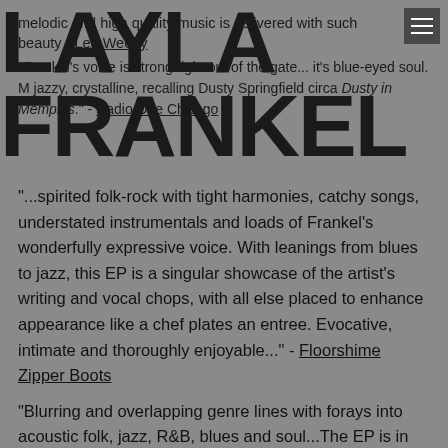melodic and high quality music is delivered with such beauty - Lee Weedy
LAYLA FRANKEL
"Frankel's voice is strong right out of the gate... it's blue-eyed soul. M jazzy, crystalline, recalling Dusty Springfield circa Dusty in Memphis." - Radio One Chicago
"...spirited folk-rock with tight harmonies, catchy songs, understated instrumentals and loads of Frankel's wonderfully expressive voice. With leanings from blues to jazz, this EP is a singular showcase of the artist's writing and vocal chops, with all else placed to enhance appearance like a chef plates an entree. Evocative, intimate and thoroughly enjoyable..." - Floorshime Zipper Boots
"Blurring and overlapping genre lines with forays into acoustic folk, jazz, R&B, blues and soul...The EP is in some ways a musical extravaganza." - Max Hammer -